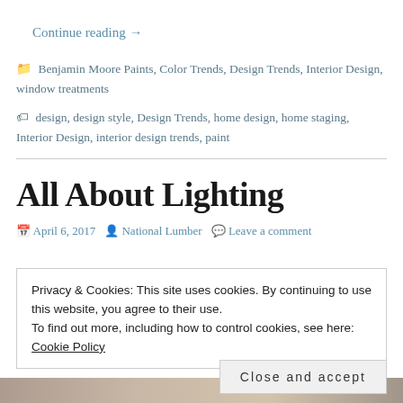Continue reading →
Benjamin Moore Paints, Color Trends, Design Trends, Interior Design, window treatments
design, design style, Design Trends, home design, home staging, Interior Design, interior design trends, paint
All About Lighting
April 6, 2017  National Lumber  Leave a comment
Privacy & Cookies: This site uses cookies. By continuing to use this website, you agree to their use.
To find out more, including how to control cookies, see here: Cookie Policy
Close and accept